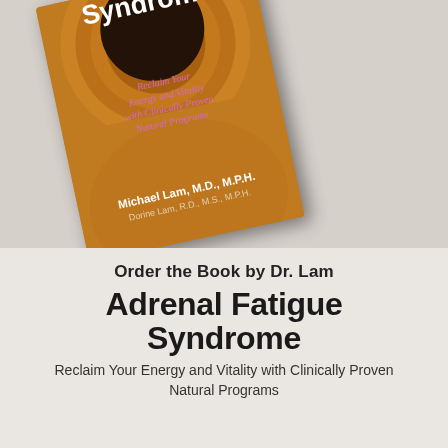[Figure (photo): A tilted book cover of 'Adrenal Fatigue Syndrome: Reclaim Your Energy and Vitality with Clinically Proven Natural Programs' by Michael Lam, M.D., M.P.H. and Dorine Lam, R.D., M.S., M.P.H., shown against a light wood/textured surface background. The cover features swirling amber/orange concentric rings with a dark brown center circle.]
Order the Book by Dr. Lam
Adrenal Fatigue Syndrome
Reclaim Your Energy and Vitality with Clinically Proven Natural Programs